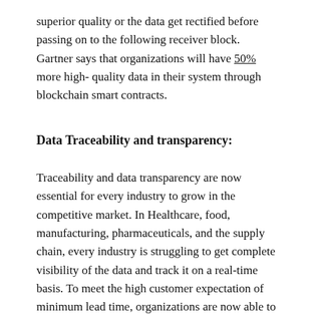superior quality or the data get rectified before passing on to the following receiver block. Gartner says that organizations will have 50% more high-quality data in their system through blockchain smart contracts.
Data Traceability and transparency:
Traceability and data transparency are now essential for every industry to grow in the competitive market. In Healthcare, food, manufacturing, pharmaceuticals, and the supply chain, every industry is struggling to get complete visibility of the data and track it on a real-time basis. To meet the high customer expectation of minimum lead time, organizations are now able to improve their efficiency by implementing blockchain in their system. Through blockchain in the supply chain, all